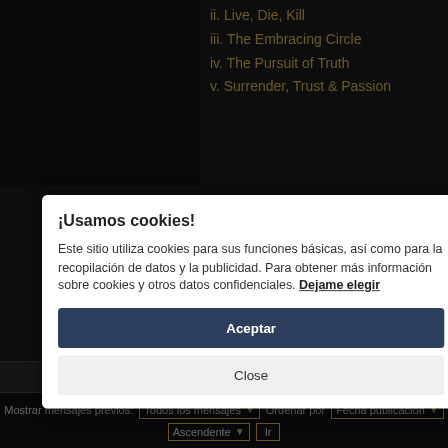ii. Live, Die, Kill
iii. The Embracing Circle
iv. The Pursuit of Truth
v. Surrender, Trust & Passion
¡Usamos cookies!
Este sitio utiliza cookies para sus funciones básicas, así como para la recopilación de datos y la publicidad. Para obtener más información sobre cookies y otros datos confidenciales. Dejame elegir
Aceptar
Close
Mostrar mensajes previos: Todos los mensajes  Ordenar por Fecha publicación
Ascendente  Ir